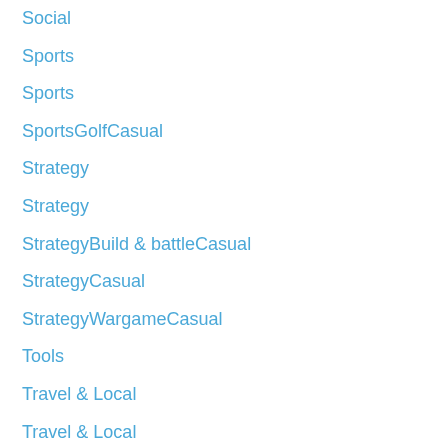Social
Sports
Sports
SportsGolfCasual
Strategy
Strategy
StrategyBuild & battleCasual
StrategyCasual
StrategyWargameCasual
Tools
Travel & Local
Travel & Local
Trivia
Trivia
Uncategorized